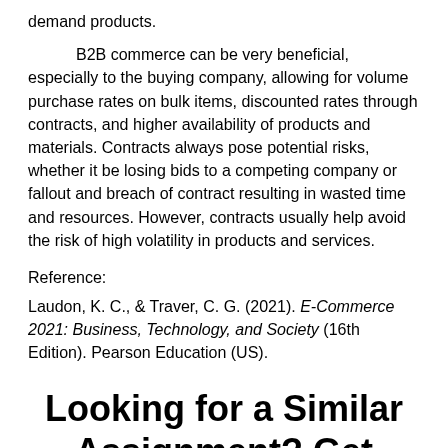demand products.
B2B commerce can be very beneficial, especially to the buying company, allowing for volume purchase rates on bulk items, discounted rates through contracts, and higher availability of products and materials. Contracts always pose potential risks, whether it be losing bids to a competing company or fallout and breach of contract resulting in wasted time and resources. However, contracts usually help avoid the risk of high volatility in products and services.
Reference:
Laudon, K. C., & Traver, C. G. (2021). E-Commerce 2021: Business, Technology, and Society (16th Edition). Pearson Education (US).
Looking for a Similar Assignment? Get Expert